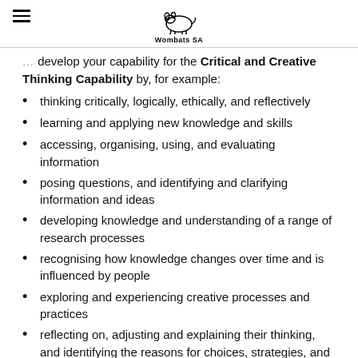Wombats SA
develop your capability for the Critical and Creative Thinking Capability by, for example:
thinking critically, logically, ethically, and reflectively
learning and applying new knowledge and skills
accessing, organising, using, and evaluating information
posing questions, and identifying and clarifying information and ideas
developing knowledge and understanding of a range of research processes
recognising how knowledge changes over time and is influenced by people
exploring and experiencing creative processes and practices
reflecting on, adjusting and explaining their thinking, and identifying the reasons for choices, strategies, and actions taken.